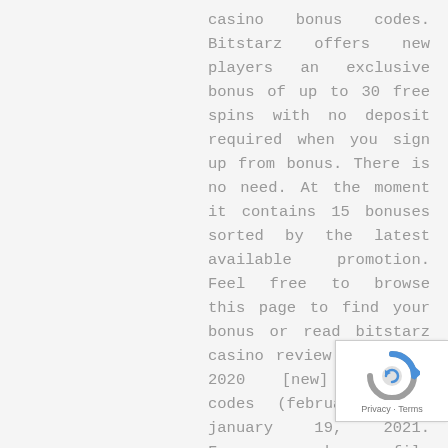casino bonus codes. Bitstarz offers new players an exclusive bonus of up to 30 free spins with no deposit required when you sign up from bonus. There is no need. At the moment it contains 15 bonuses sorted by the latest available promotion. Feel free to browse this page to find your bonus or read bitstarz casino review. July 31, 2020 [new] redecor codes (february 2022) january 19, 2021. Forums - member profile > profile page. User: promo code bitstarz 2020, bitstarz casino ei talletusbonusta codes 2021, title: new member, about: promo code
The information on this website is solely intended for entertainment purposes, bitstarz promo codes 2021. Please verify the wagering regulations in your jurisdiction as they vary from country to country, state to state, and province to province. Using this information to contravene any law or statute is prohibited. This website is not associated
[Figure (other): reCAPTCHA badge with blue/grey arrow-circle logo and 'Privacy - Terms' text]